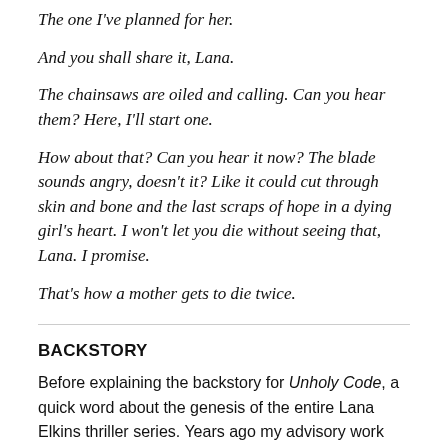The one I've planned for her.
And you shall share it, Lana.
The chainsaws are oiled and calling. Can you hear them? Here, I'll start one.
How about that? Can you hear it now? The blade sounds angry, doesn't it? Like it could cut through skin and bone and the last scraps of hope in a dying girl's heart. I won't let you die without seeing that, Lana. I promise.
That's how a mother gets to die twice.
BACKSTORY
Before explaining the backstory for Unholy Code, a quick word about the genesis of the entire Lana Elkins thriller series. Years ago my advisory work involved the then nascent subject of cybersecurity, which naturally had me researching and reading a lot about cyberattacks and